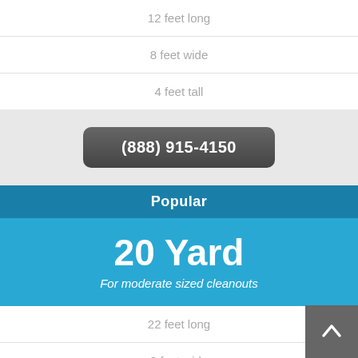12 feet long
8 feet wide
4 feet tall
(888) 915-4150
Popular
20 Yard
For moderate sized cleanouts
22 feet long
8 feet wide
4.5 feet tall